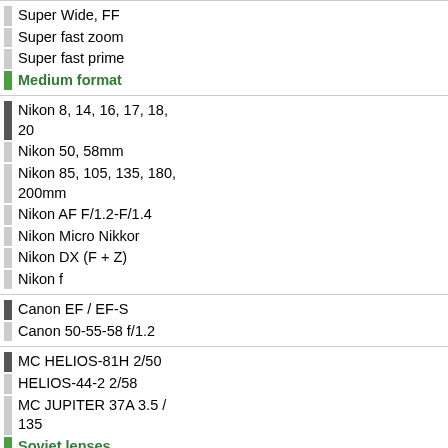Super Wide, FF
Super fast zoom
Super fast prime
Medium format
Nikon 8, 14, 16, 17, 18, 20
Nikon 50, 58mm
Nikon 85, 105, 135, 180, 200mm
Nikon AF F/1.2-F/1.4
Nikon Micro Nikkor
Nikon DX (F + Z)
Nikon f
Canon EF / EF-S
Canon 50-55-58 f/1.2
MC HELIOS-81H 2/50
HELIOS-44-2 2/58
MC JUPITER 37A 3.5 / 135
Soviet lenses
Focus: Direct Drive Super Sonic Motor (SSM)
Aperture control ring, infinitely
Aperture blades: 11 pieces, ro
Filter Diameter: 72 mm
Weight: 700 gram
Case: protected
Programmable button
Price: around $1500 [The Ama
Appearance
[Figure (photo): Photo of a camera lens, gray/silver colored, cylindrical with markings, shown from slight angle]